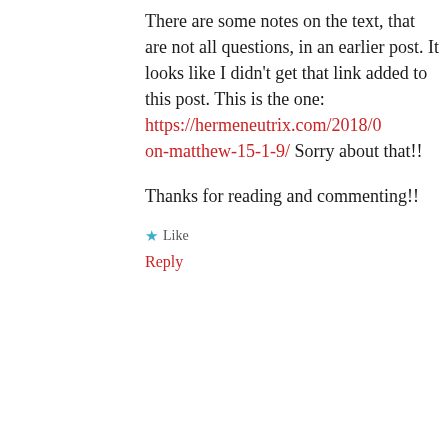There are some notes on the text, that are not all questions, in an earlier post. It looks like I didn't get that link added to this post. This is the one: https://hermeneutrix.com/2018/0 on-matthew-15-1-9/ Sorry about that!!
Thanks for reading and commenting!!
★ Like
Reply